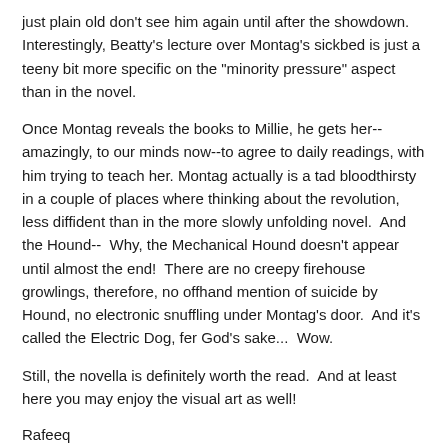just plain old don't see him again until after the showdown. Interestingly, Beatty's lecture over Montag's sickbed is just a teeny bit more specific on the "minority pressure" aspect than in the novel.
Once Montag reveals the books to Millie, he gets her--amazingly, to our minds now--to agree to daily readings, with him trying to teach her. Montag actually is a tad bloodthirsty in a couple of places where thinking about the revolution, less diffident than in the more slowly unfolding novel.  And the Hound--  Why, the Mechanical Hound doesn't appear until almost the end!  There are no creepy firehouse growlings, therefore, no offhand mention of suicide by Hound, no electronic snuffling under Montag's door.  And it's called the Electric Dog, fer God's sake...  Wow.
Still, the novella is definitely worth the read.  And at least here you may enjoy the visual art as well!
Rafeeq